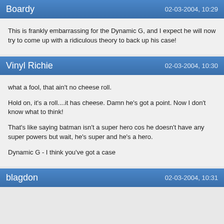Boardy — 02-03-2004, 10:29
This is frankly embarrassing for the Dynamic G, and I expect he will now try to come up with a ridiculous theory to back up his case!
Vinyl Richie — 02-03-2004, 10:30
what a fool, that ain't no cheese roll.

Hold on, it's a roll....it has cheese. Damn he's got a point. Now I don't know what to think!

That's like saying batman isn't a super hero cos he doesn't have any super powers but wait, he's super and he's a hero.

Dynamic G - I think you've got a case
blagdon — 02-03-2004, 10:31